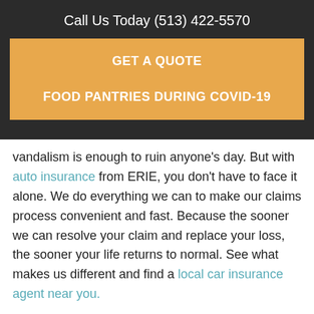Call Us Today (513) 422-5570
GET A QUOTE
FOOD PANTRIES DURING COVID-19
vandalism is enough to ruin anyone's day. But with auto insurance from ERIE, you don't have to face it alone. We do everything we can to make our claims process convenient and fast. Because the sooner we can resolve your claim and replace your loss, the sooner your life returns to normal. See what makes us different and find a local car insurance agent near you.